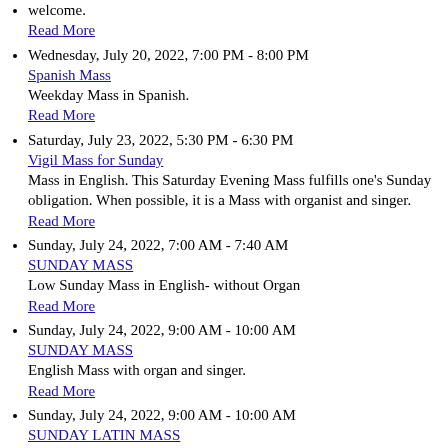welcome.
Read More
Wednesday, July 20, 2022, 7:00 PM - 8:00 PM
Spanish Mass
Weekday Mass in Spanish.
Read More
Saturday, July 23, 2022, 5:30 PM - 6:30 PM
Vigil Mass for Sunday
Mass in English. This Saturday Evening Mass fulfills one's Sunday obligation. When possible, it is a Mass with organist and singer.
Read More
Sunday, July 24, 2022, 7:00 AM - 7:40 AM
SUNDAY MASS
Low Sunday Mass in English- without Organ
Read More
Sunday, July 24, 2022, 9:00 AM - 10:00 AM
SUNDAY MASS
English Mass with organ and singer.
Read More
Sunday, July 24, 2022, 9:00 AM - 10:00 AM
SUNDAY LATIN MASS
Latin Mass according to the Extraordinary Form (Missale Romanum 1962). Sometimes this is a Low Mass with hymns. On festive occasions it is a High Mass with prayers,